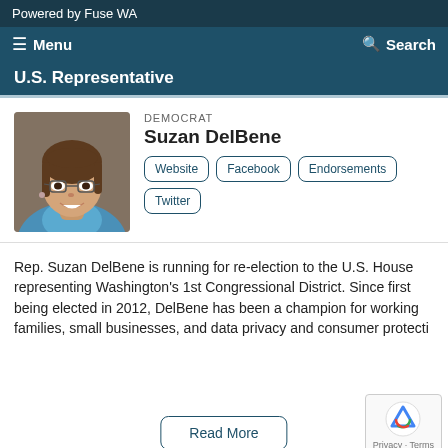Powered by Fuse WA
Menu   Search
U.S. Representative
DEMOCRAT
Suzan DelBene
[Figure (photo): Headshot of Suzan DelBene, a woman with brown hair and glasses, smiling, wearing a blue scarf]
Website   Facebook   Endorsements   Twitter
Rep. Suzan DelBene is running for re-election to the U.S. House representing Washington's 1st Congressional District. Since first being elected in 2012, DelBene has been a champion for working families, small businesses, and data privacy and consumer protecti…
Read More